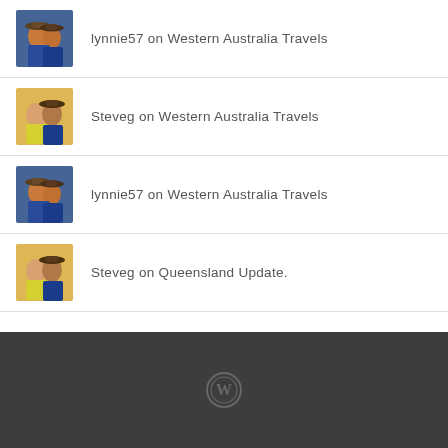lynnie57 on Western Australia Travels
Steveg on Western Australia Travels
lynnie57 on Western Australia Travels
Steveg on Queensland Update.
WordPress logo